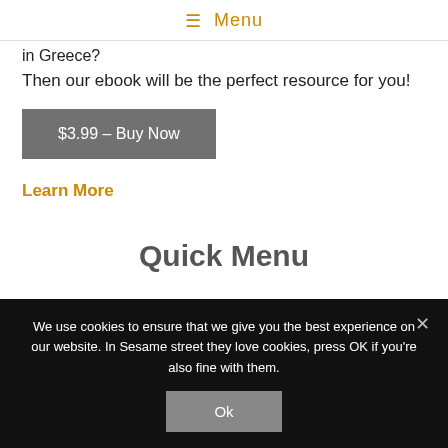≡ Menu
in Greece?
Then our ebook will be the perfect resource for you!
$3.99 – Buy Now
Learn More
Quick Menu
We use cookies to ensure that we give you the best experience on our website. In Sesame street they love cookies, press OK if you're also fine with them.
Ok